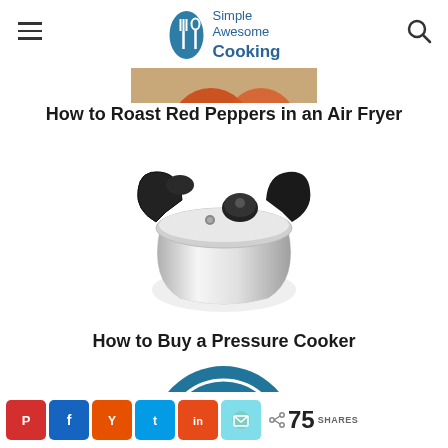[Figure (logo): Simple Awesome Cooking logo with fork and spoon icon in teal oval, text 'Simple Awesome Cooking']
[Figure (photo): Partial image of roasted red peppers on wooden surface]
How to Roast Red Peppers in an Air Fryer
[Figure (photo): Stainless steel pressure cooker with black handles and lid on white background]
How to Buy a Pressure Cooker
[Figure (logo): WordPress blue circular logo with white W]
Pinterest | Facebook | Yummly | Twitter | Reddit | Email | 75 SHARES